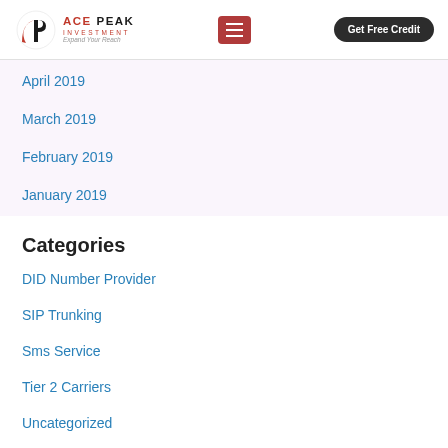Ace Peak Investment — Get Free Credit
April 2019
March 2019
February 2019
January 2019
Categories
DID Number Provider
SIP Trunking
Sms Service
Tier 2 Carriers
Uncategorized